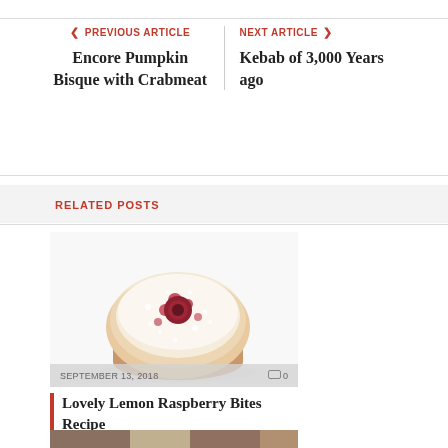PREVIOUS ARTICLE | Encore Pumpkin Bisque with Crabmeat
NEXT ARTICLE | Kebab of 3,000 Years ago
RELATED POSTS
[Figure (photo): A powdered sugar-dusted lemon raspberry muffin/bite with a raspberry center on a white background]
SEPTEMBER 13, 2018    0
Lovely Lemon Raspberry Bites Recipe
[Figure (photo): Partial image of another food item at the bottom of the page]